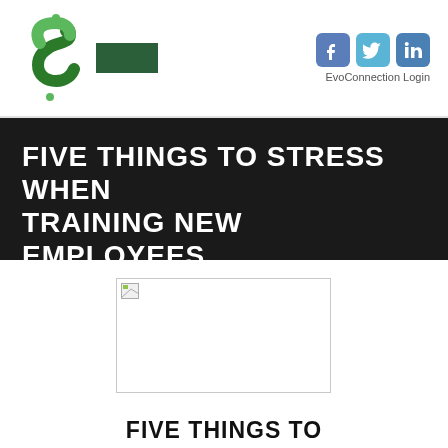EvoConnection Login
FIVE THINGS TO STRESS WHEN TRAINING NEW EMPLOYEES
[Figure (photo): Placeholder image (broken/missing) showing a blank white rectangle with a small broken image icon in the top-left corner]
FIVE THINGS TO